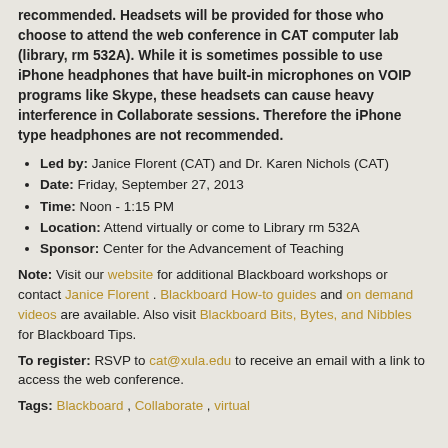recommended. Headsets will be provided for those who choose to attend the web conference in CAT computer lab (library, rm 532A). While it is sometimes possible to use iPhone headphones that have built-in microphones on VOIP programs like Skype, these headsets can cause heavy interference in Collaborate sessions. Therefore the iPhone type headphones are not recommended.
Led by: Janice Florent (CAT) and Dr. Karen Nichols (CAT)
Date: Friday, September 27, 2013
Time: Noon - 1:15 PM
Location: Attend virtually or come to Library rm 532A
Sponsor: Center for the Advancement of Teaching
Note: Visit our website for additional Blackboard workshops or contact Janice Florent . Blackboard How-to guides and on demand videos are available. Also visit Blackboard Bits, Bytes, and Nibbles for Blackboard Tips.
To register: RSVP to cat@xula.edu to receive an email with a link to access the web conference.
Tags: Blackboard , Collaborate , virtual